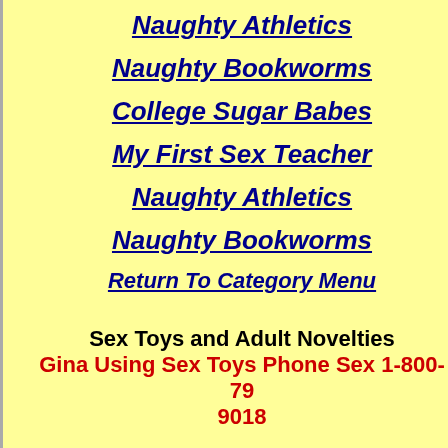Naughty Athletics
Naughty Bookworms
College Sugar Babes
My First Sex Teacher
Naughty Athletics
Naughty Bookworms
Return To Category Menu
Sex Toys and Adult Novelties
Gina Using Sex Toys Phone Sex 1-800-79 9018